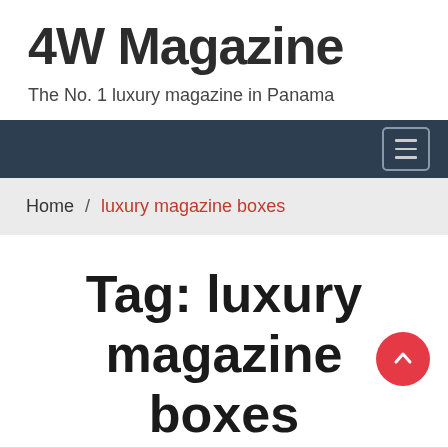4W Magazine
The No. 1 luxury magazine in Panama
[Figure (screenshot): Dark navy navigation bar with a hamburger menu button (three horizontal lines) in the top right corner]
Home / luxury magazine boxes
Tag: luxury magazine boxes